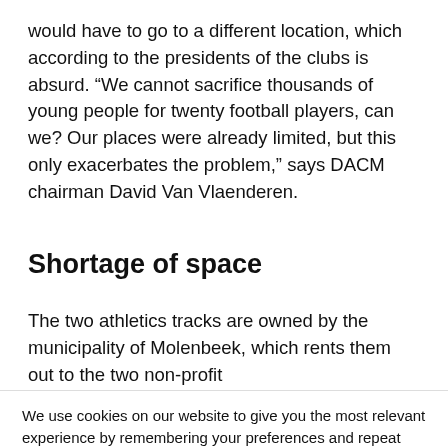would have to go to a different location, which according to the presidents of the clubs is absurd. “We cannot sacrifice thousands of young people for twenty football players, can we? Our places were already limited, but this only exacerbates the problem,” says DACM chairman David Van Vlaenderen.
Shortage of space
The two athletics tracks are owned by the municipality of Molenbeek, which rents them out to the two non-profit
We use cookies on our website to give you the most relevant experience by remembering your preferences and repeat visits. By clicking “Accept”, you consent to the use of ALL the cookies.
Cookie settings  ACCEPT